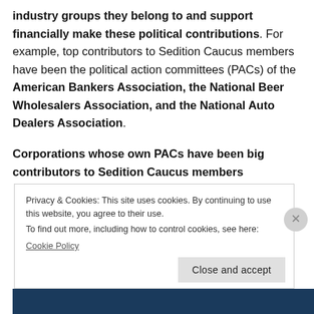industry groups they belong to and support financially make these political contributions. For example, top contributors to Sedition Caucus members have been the political action committees (PACs) of the American Bankers Association, the National Beer Wholesalers Association, and the National Auto Dealers Association.
Corporations whose own PACs have been big contributors to Sedition Caucus members
Privacy & Cookies: This site uses cookies. By continuing to use this website, you agree to their use.
To find out more, including how to control cookies, see here:
Cookie Policy